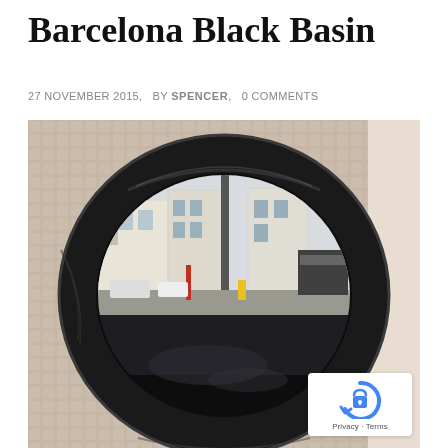Barcelona Black Basin
27 NOVEMBER 2015,   BY SPENCER,   0 COMMENTS
[Figure (photo): A large round black glossy basin (sink) photographed from above at an angle, showing a mosaic tile background and a reflection of a street scene with buildings, cars and shops visible in the basin's reflective surface.]